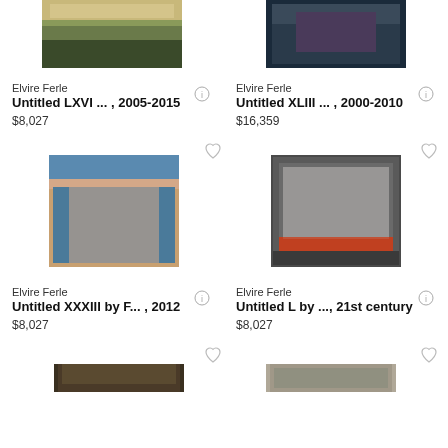[Figure (photo): Partial top view of abstract painting with dark green and beige horizontal bands]
[Figure (photo): Partial top view of abstract painting with dark blue and purple tones]
Elvire Ferle
Untitled LXVI ... , 2005-2015
$8,027
Elvire Ferle
Untitled XLIII ... , 2000-2010
$16,359
[Figure (photo): Abstract painting with blue, red/orange and grey rectangular color blocks reminiscent of Rothko]
[Figure (photo): Abstract painting with dark grey, silver and orange/red horizontal bands]
Elvire Ferle
Untitled XXXIII by F... , 2012
$8,027
Elvire Ferle
Untitled L by ..., 21st century
$8,027
[Figure (photo): Partially visible artwork at bottom left (cropped)]
[Figure (photo): Partially visible artwork at bottom right (cropped)]